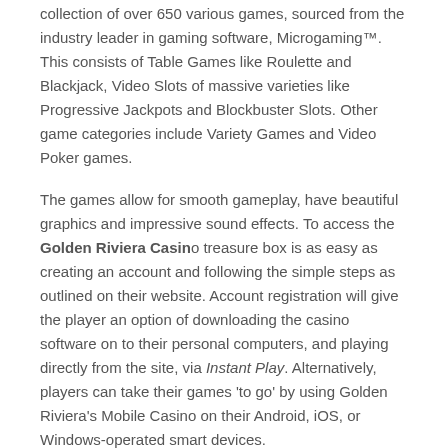collection of over 650 various games, sourced from the industry leader in gaming software, Microgaming™. This consists of Table Games like Roulette and Blackjack, Video Slots of massive varieties like Progressive Jackpots and Blockbuster Slots. Other game categories include Variety Games and Video Poker games.
The games allow for smooth gameplay, have beautiful graphics and impressive sound effects. To access the Golden Riviera Casino treasure box is as easy as creating an account and following the simple steps as outlined on their website. Account registration will give the player an option of downloading the casino software on to their personal computers, and playing directly from the site, via Instant Play. Alternatively, players can take their games 'to go' by using Golden Riviera's Mobile Casino on their Android, iOS, or Windows-operated smart devices.
Banking Info (Payments)
Ease of banking with the casino is something of great importance to players, especially regarding security and efficiency. Golden Riviera Casino addresses the issue of banking by providing players with a